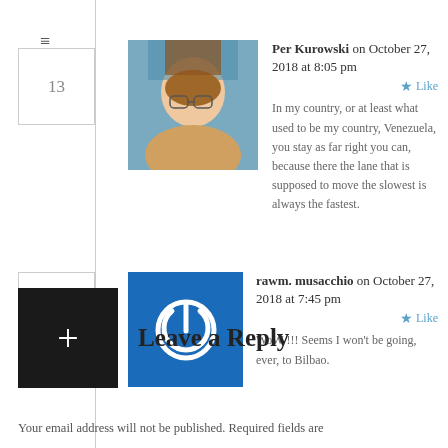13 — Per Kurowski on October 27, 2018 at 8:05 pm — In my country, or at least what used to be my country, Venezuela, you stay as far right you can, because there the lane that is supposed to move the slowest is always the fastest.
14 — rawm. musacchio on October 27, 2018 at 7:45 pm — WoW !!! Seems I won't be going, ever, to Bilbao.
Leave a Reply
Your email address will not be published. Required fields are